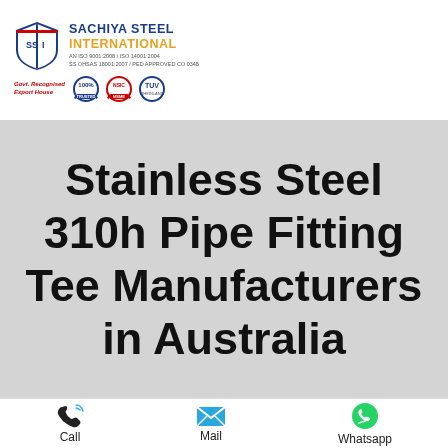[Figure (logo): Sachiya Steel International company logo with SSI shield emblem, company name in blue and gold, certification badges including 100%, government recognized, TUV mark]
Stainless Steel 310h Pipe Fitting Tee Manufacturers in Australia
[Figure (infographic): Contact bar with three icons: phone (Call), envelope (Mail), WhatsApp logo (Whatsapp)]